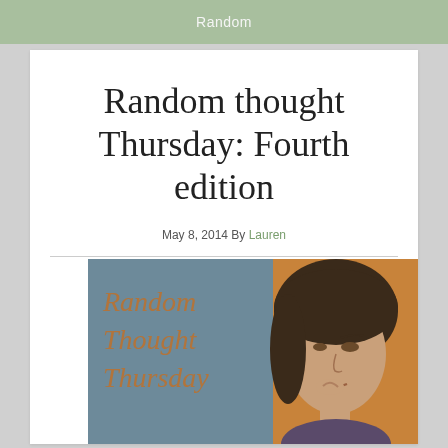Random
Random thought Thursday: Fourth edition
May 8, 2014 By Lauren
[Figure (photo): A woman in a thinking pose with her finger on her chin, next to text reading 'Random Thought Thursday' in decorative script on a blue-grey background.]